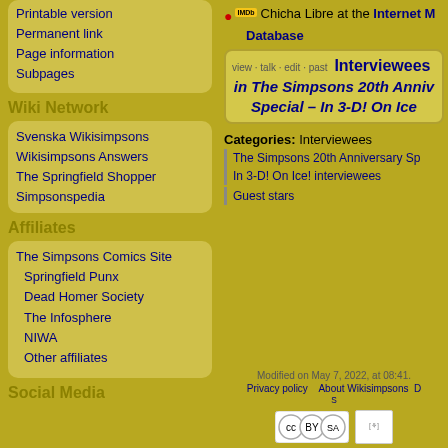Printable version
Permanent link
Page information
Subpages
Wiki Network
Svenska Wikisimpsons
Wikisimpsons Answers
The Springfield Shopper
Simpsonspedia
Affiliates
The Simpsons Comics Site
Springfield Punx
Dead Homer Society
The Infosphere
NIWA
Other affiliates
Social Media
Chicha Libre at the Internet Movie Database
view · talk · edit · past  Interviewees in The Simpsons 20th Anniversary Special – In 3-D! On Ice
Categories:  Interviewees
The Simpsons 20th Anniversary Special – In 3-D! On Ice! interviewees
Guest stars
Modified on May 7, 2022, at 08:41.
Privacy policy   About Wikisimpsons